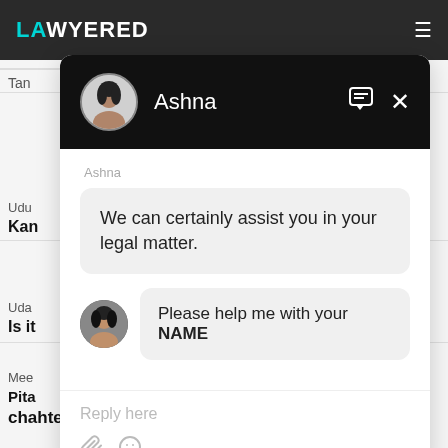[Figure (screenshot): Screenshot of a legal services website (LAWYERED) with a chat popup overlay. The chat popup shows a conversation with 'Ashna', a chat agent. The agent's message says 'We can certainly assist you in your legal matter.' A user message bubble shows 'Please help me with your NAME' (NAME in bold). Below is a reply input area with 'Reply here' placeholder text and attachment/emoji icons. In the background, partial text of the website is visible.]